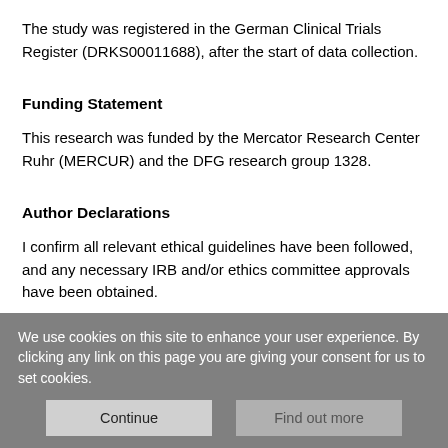The study was registered in the German Clinical Trials Register (DRKS00011688), after the start of data collection.
Funding Statement
This research was funded by the Mercator Research Center Ruhr (MERCUR) and the DFG research group 1328.
Author Declarations
I confirm all relevant ethical guidelines have been followed, and any necessary IRB and/or ethics committee approvals have been obtained.
Yes
We use cookies on this site to enhance your user experience. By clicking any link on this page you are giving your consent for us to set cookies.